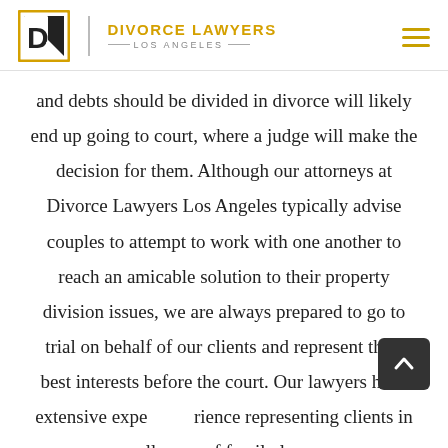DIVORCE LAWYERS LOS ANGELES
and debts should be divided in divorce will likely end up going to court, where a judge will make the decision for them. Although our attorneys at Divorce Lawyers Los Angeles typically advise couples to attempt to work with one another to reach an amicable solution to their property division issues, we are always prepared to go to trial on behalf of our clients and represent their best interests before the court. Our lawyers have extensive experience representing clients in all areas of family law,